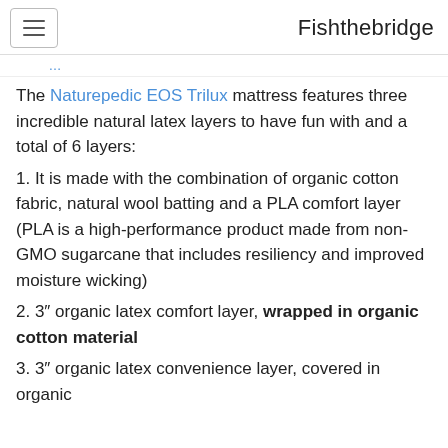Fishthebridge
The Naturepedic EOS Trilux mattress features three incredible natural latex layers to have fun with and a total of 6 layers:
1. It is made with the combination of organic cotton fabric, natural wool batting and a PLA comfort layer (PLA is a high-performance product made from non-GMO sugarcane that includes resiliency and improved moisture wicking)
2. 3″ organic latex comfort layer, wrapped in organic cotton material
3. 3″ organic latex convenience layer, covered in organic